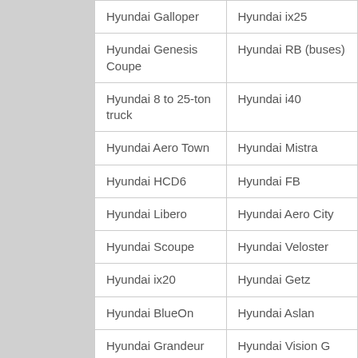| Hyundai Galloper | Hyundai ix25 |
| Hyundai Genesis Coupe | Hyundai RB (buses) |
| Hyundai 8 to 25-ton truck | Hyundai i40 |
| Hyundai Aero Town | Hyundai Mistra |
| Hyundai HCD6 | Hyundai FB |
| Hyundai Libero | Hyundai Aero City |
| Hyundai Scoupe | Hyundai Veloster |
| Hyundai ix20 | Hyundai Getz |
| Hyundai BlueOn | Hyundai Aslan |
| Hyundai Grandeur | Hyundai Vision G |